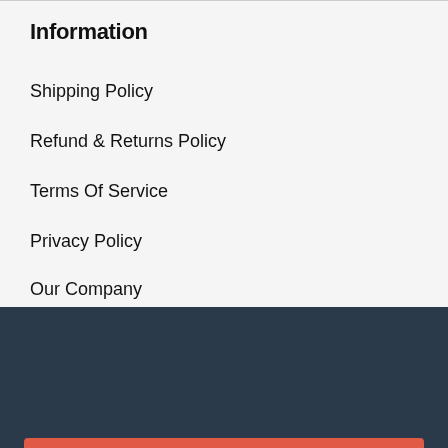Information
Shipping Policy
Refund & Returns Policy
Terms Of Service
Privacy Policy
Our Company
$25.00
A4 (21 x 2...
Unframed Print
Add to Cart